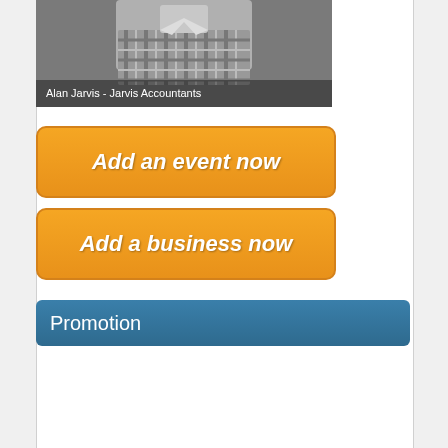[Figure (photo): Black and white photo of a man (Alan Jarvis) in a checkered shirt, cropped to show neck and lower face area. Caption reads: Alan Jarvis - Jarvis Accountants]
Add an event now
Add a business now
Promotion